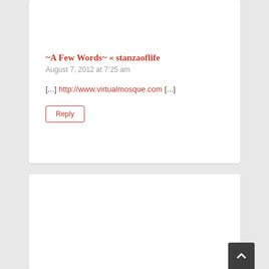~A Few Words~ « stanzaoflife
August 7, 2012 at 7:25 am
[...] http://www.virtualmosque.com [...]